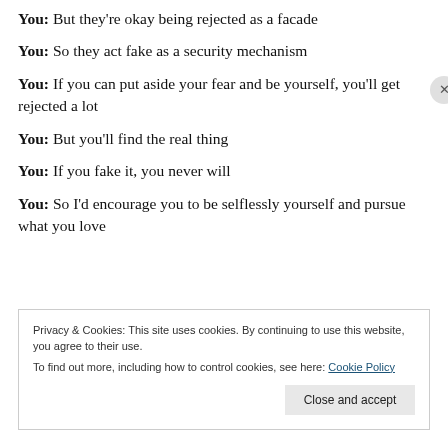You: But they're okay being rejected as a facade
You: So they act fake as a security mechanism
You: If you can put aside your fear and be yourself, you'll get rejected a lot
You: But you'll find the real thing
You: If you fake it, you never will
You: So I'd encourage you to be selflessly yourself and pursue what you love
Privacy & Cookies: This site uses cookies. By continuing to use this website, you agree to their use. To find out more, including how to control cookies, see here: Cookie Policy